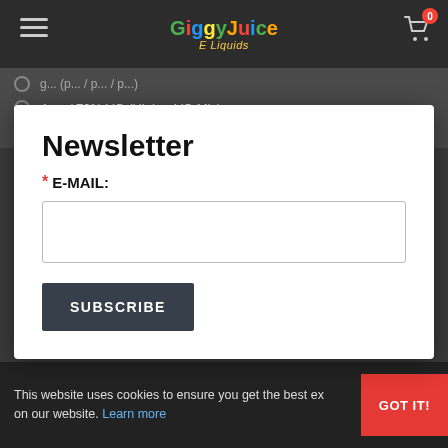GiggyJuice E Liquids
4mg / 70% VG (Higher VG Mix)
Newsletter
* E-MAIL:
1 x 15ml bottle/+ 1 x 10ml TPD Base Liquid
1 x 30ml bottle + 2 x 10ml TPD Base Liquids  (+£3.00)
1 x 50ml Bottle + 4 x 10ml TPD Base Liquids  (+£8.50)
1 x 100m Bottle + 8 x 10ml TPD Base Liquids  (+£16.50)
This website uses cookies to ensure you get the best experience on our website. Learn more